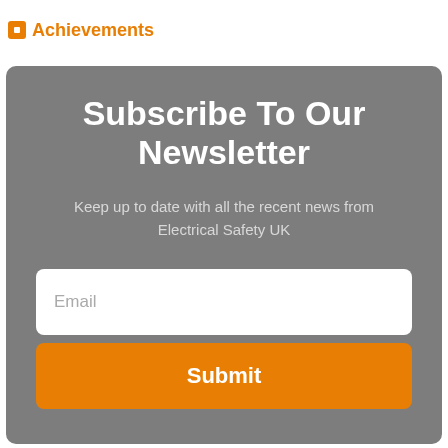Achievements
Subscribe To Our Newsletter
Keep up to date with all the recent news from Electrical Safety UK
Email
Submit